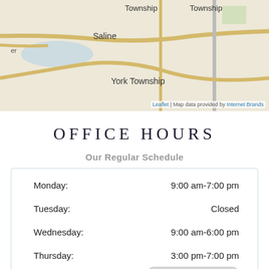[Figure (map): Street map showing Saline, York Township area with roads and labels including Township, Saline, York Township.]
Leaflet | Map data provided by Internet Brands
OFFICE HOURS
Our Regular Schedule
| Day | Hours |
| --- | --- |
| Monday: | 9:00 am-7:00 pm |
| Tuesday: | Closed |
| Wednesday: | 9:00 am-6:00 pm |
| Thursday: | 3:00 pm-7:00 pm |
| Friday: |  |